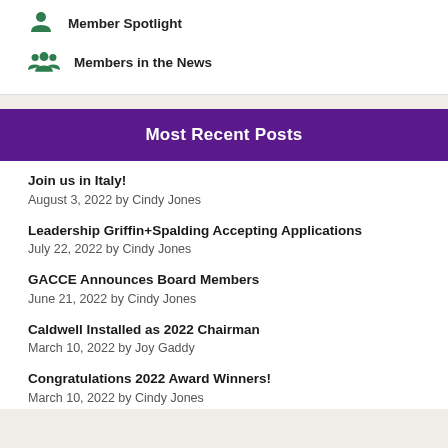Member Spotlight
Members in the News
Most Recent Posts
Join us in Italy!
August 3, 2022 by Cindy Jones
Leadership Griffin+Spalding Accepting Applications
July 22, 2022 by Cindy Jones
GACCE Announces Board Members
June 21, 2022 by Cindy Jones
Caldwell Installed as 2022 Chairman
March 10, 2022 by Joy Gaddy
Congratulations 2022 Award Winners!
March 10, 2022 by Cindy Jones